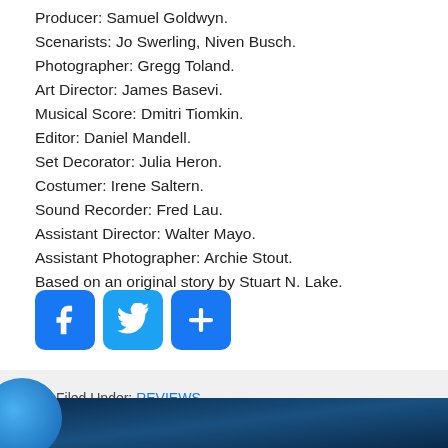Producer: Samuel Goldwyn.
Scenarists: Jo Swerling, Niven Busch.
Photographer: Gregg Toland.
Art Director: James Basevi.
Musical Score: Dmitri Tiomkin.
Editor: Daniel Mandell.
Set Decorator: Julia Heron.
Costumer: Irene Saltern.
Sound Recorder: Fred Lau.
Assistant Director: Walter Mayo.
Assistant Photographer: Archie Stout.
Based on an original story by Stuart N. Lake.
[Figure (infographic): Social media share buttons: Facebook (blue), Twitter (blue), and a blue plus/share button]
Filed Under: REVIEWS